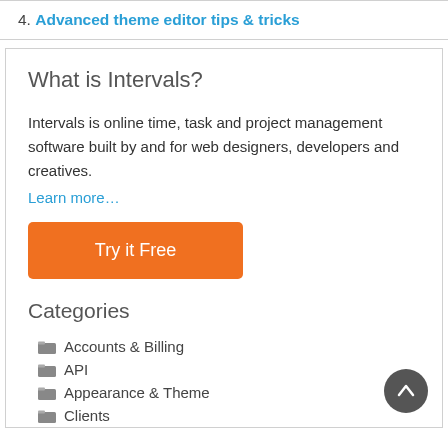4. Advanced theme editor tips & tricks
What is Intervals?
Intervals is online time, task and project management software built by and for web designers, developers and creatives.
Learn more…
Try it Free
Categories
Accounts & Billing
API
Appearance & Theme
Clients